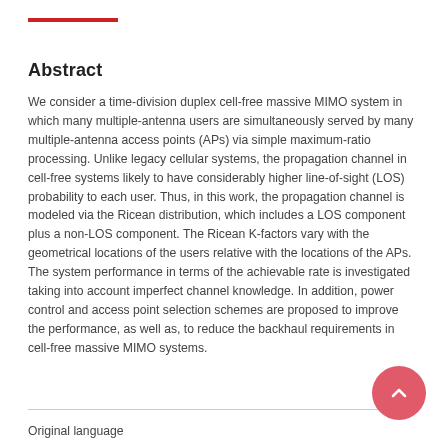Abstract
We consider a time-division duplex cell-free massive MIMO system in which many multiple-antenna users are simultaneously served by many multiple-antenna access points (APs) via simple maximum-ratio processing. Unlike legacy cellular systems, the propagation channel in cell-free systems likely to have considerably higher line-of-sight (LOS) probability to each user. Thus, in this work, the propagation channel is modeled via the Ricean distribution, which includes a LOS component plus a non-LOS component. The Ricean K-factors vary with the geometrical locations of the users relative with the locations of the APs. The system performance in terms of the achievable rate is investigated taking into account imperfect channel knowledge. In addition, power control and access point selection schemes are proposed to improve the performance, as well as, to reduce the backhaul requirements in cell-free massive MIMO systems.
Original language